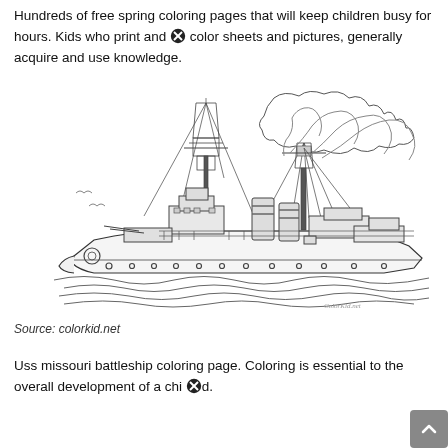Hundreds of free spring coloring pages that will keep children busy for hours. Kids who print and color sheets and pictures, generally acquire and use knowledge.
[Figure (illustration): Line drawing / coloring page of a USS Missouri battleship at sea, showing masts, funnels emitting smoke, deck structures, and ocean waves. Watermark 'ColorKid.net' in bottom right.]
Source: colorkid.net
Uss missouri battleship coloring page. Coloring is essential to the overall development of a child.